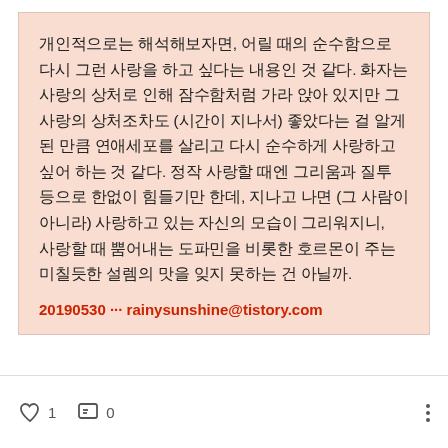개인적으로는 해석해보자면, 어릴 때의 순수함으로 다시 그런 사랑을 하고 싶다는 내용인 것 같다. 화자는 사랑의 상처로 인해 잠수함처럼 가라 앉아 있지만 그 사랑의 상처조차도 (시간이 지나서) 좋았다는 걸 알게 된 만큼 연애세포를 살리고 다시 순수하게 사랑하고 싶어 하는 것 같다. 정작 사랑할 때엔 그리움과 질투 등으로 한없이 힘들기만 한데, 지나고 나면 (그 사람이 아니라) 사랑하고 있는 자신의 모습이 그리워지니, 사랑할 때 뿜어내는 도파민을 비롯한 호르몬이 주는 미칠듯한 설렘의 맛을 잊지 못하는 건 아닐까.
20190530 ··· rainysunshine@tistory.com
♡ 1   💬 0